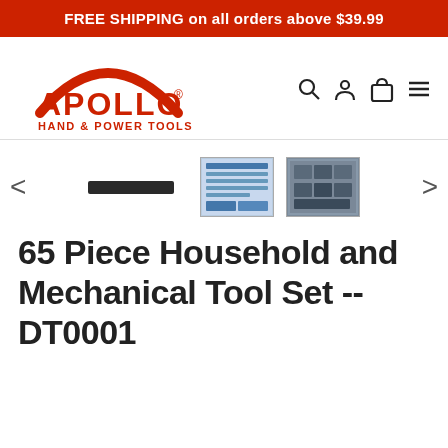FREE SHIPPING on all orders above $39.99
[Figure (logo): Apollo Hand & Power Tools logo — red arch above bold red APOLLO text with registered trademark, and red HAND & POWER TOOLS subtitle]
[Figure (screenshot): Navigation icons: search magnifier, user/person, shopping bag, hamburger menu]
[Figure (screenshot): Product image carousel with left arrow, a dark bar placeholder for main image, two thumbnail images of tool sets, and right arrow]
65 Piece Household and Mechanical Tool Set -- DT0001